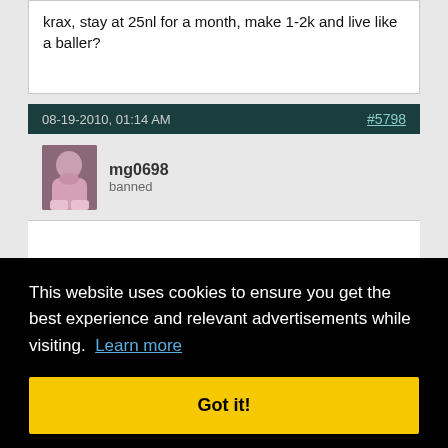krax, stay at 25nl for a month, make 1-2k and live like a baller?
08-19-2010, 01:14 AM
#5798
mg0698
banned
This website uses cookies to ensure you get the best experience and relevant advertisements while visiting. Learn more
Got it!
SB: $26.06